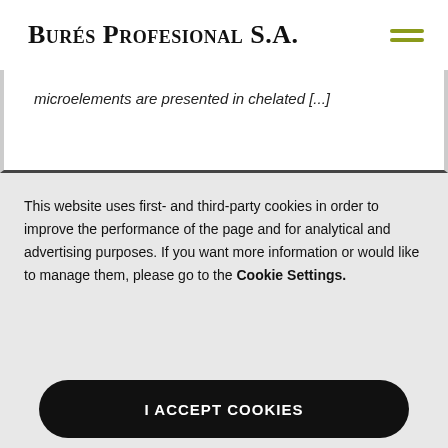Burés Profesional S.A.
microelements are presented in chelated [...]
This website uses first- and third-party cookies in order to improve the performance of the page and for analytical and advertising purposes. If you want more information or would like to manage them, please go to the Cookie Settings.
I ACCEPT COOKIES